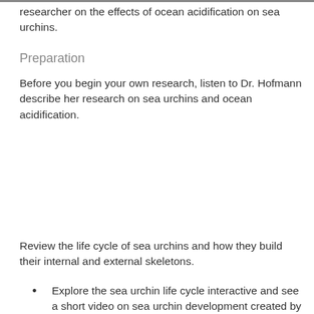researcher on the effects of ocean acidification on sea urchins.
Preparation
Before you begin your own research, listen to Dr. Hofmann describe her research on sea urchins and ocean acidification.
Review the life cycle of sea urchins and how they build their internal and external skeletons.
Explore the sea urchin life cycle interactive and see a short video on sea urchin development created by